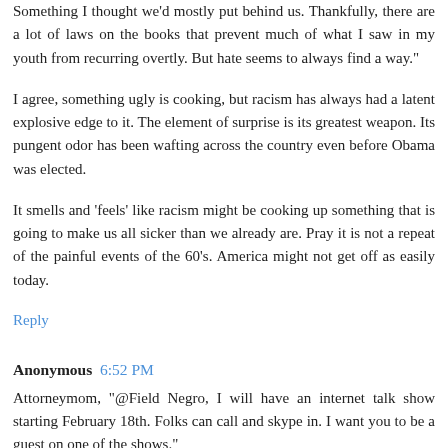Something I thought we'd mostly put behind us. Thankfully, there are a lot of laws on the books that prevent much of what I saw in my youth from recurring overtly. But hate seems to always find a way."
I agree, something ugly is cooking, but racism has always had a latent explosive edge to it. The element of surprise is its greatest weapon. Its pungent odor has been wafting across the country even before Obama was elected.
It smells and 'feels' like racism might be cooking up something that is going to make us all sicker than we already are. Pray it is not a repeat of the painful events of the 60's. America might not get off as easily today.
Reply
Anonymous  6:52 PM
Attorneymom, "@Field Negro, I will have an internet talk show starting February 18th. Folks can call and skype in. I want you to be a guest on one of the shows."